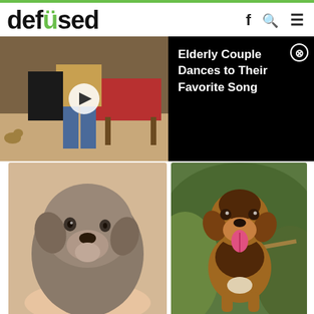defused
[Figure (screenshot): Video thumbnail showing people dancing in a room with a small dog visible]
Elderly Couple Dances to Their Favorite Song
[Figure (photo): Close-up photo of a small gray/brown puppy being held]
[Figure (photo): Photo of a brown and black dog smiling with tongue out, standing outdoors in greenery]